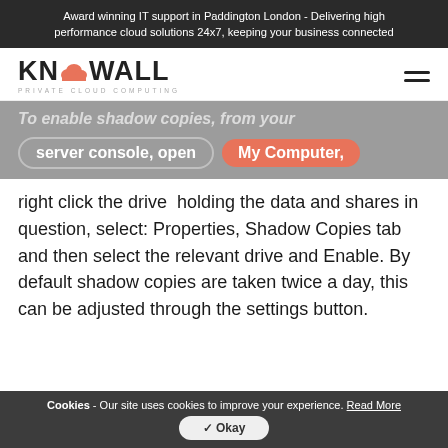Award winning IT support in Paddington London - Delivering high performance cloud solutions 24x7, keeping your business connected
[Figure (logo): Knowall Private Cloud Computing logo with cloud icon and hamburger menu]
To enable shadow copies, from your server console, open My Computer, right click the drive holding the data and shares in question, select: Properties, Shadow Copies tab and then select the relevant drive and Enable. By default shadow copies are taken twice a day, this can be adjusted through the settings button.
Cookies - Our site uses cookies to improve your experience. Read More Okay